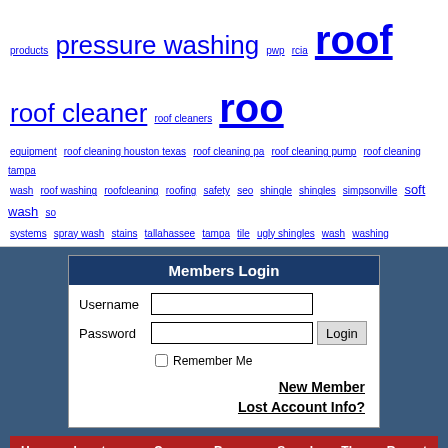products pressure washing pwp rcia roof roof cleaner roof cleaners roof equipment roof cleaning houston texas roof cleaning pa roof cleaning pump roof cleaning tampa wash roof washing roofcleaning roofing safety seo shingle shingles simpsonville soft wash so systems spray wash stains tallahassee tampa tile ugly shingles wash washing
[Figure (screenshot): Members Login form with username, password fields, login button, remember me checkbox, New Member and Lost Account Info links]
[Figure (infographic): Red navigation bar with links: Home, Locate A Certified Roof Cleaner, Our Google+ Roof Cleaning Community, Become a Premium Member, Search, The New RCIA Forum!, Recent Posts]
Our Founders Website -> Locate A Certified Roof Cleaner | Roof Cleaning Institute Of America
| Posts Tagged With "American-ProTech" | Forum | Replies | Views | Last Post |
| --- | --- | --- | --- | --- |
| Roof cleaning South Riding | Roof | 0 | 3312 | Sep 20, |